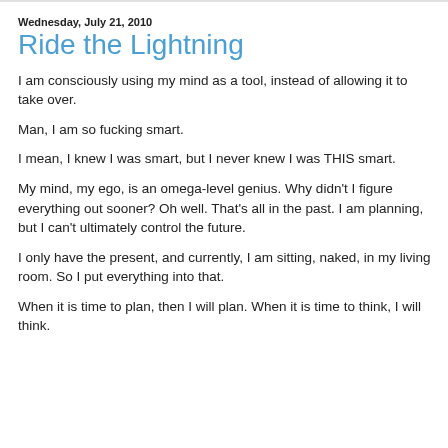Wednesday, July 21, 2010
Ride the Lightning
I am consciously using my mind as a tool, instead of allowing it to take over.
Man, I am so fucking smart.
I mean, I knew I was smart, but I never knew I was THIS smart.
My mind, my ego, is an omega-level genius. Why didn't I figure everything out sooner? Oh well. That's all in the past. I am planning, but I can't ultimately control the future.
I only have the present, and currently, I am sitting, naked, in my living room. So I put everything into that.
When it is time to plan, then I will plan. When it is time to think, I will think.